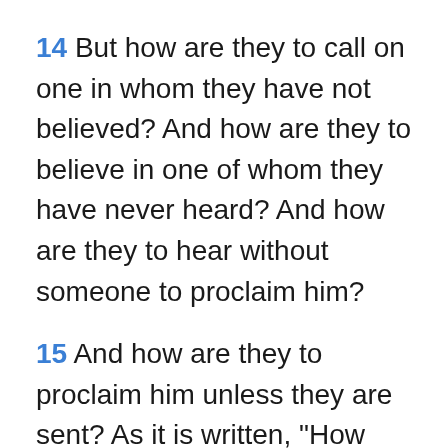14 But how are they to call on one in whom they have not believed? And how are they to believe in one of whom they have never heard? And how are they to hear without someone to proclaim him?
15 And how are they to proclaim him unless they are sent? As it is written, "How beautiful are the feet of those who bring good news!"
16 But not all have obeyed the good news; for Isaiah says, "Lord, who has believed our message?"
17 So faith comes from what is heard...